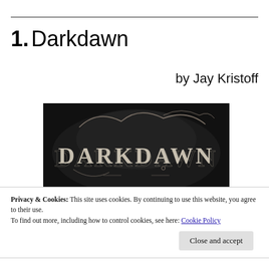1. Darkdawn
by Jay Kristoff
[Figure (photo): Book cover of Darkdawn by Jay Kristoff showing decorative white lettering on a dark background]
Privacy & Cookies: This site uses cookies. By continuing to use this website, you agree to their use.
To find out more, including how to control cookies, see here: Cookie Policy